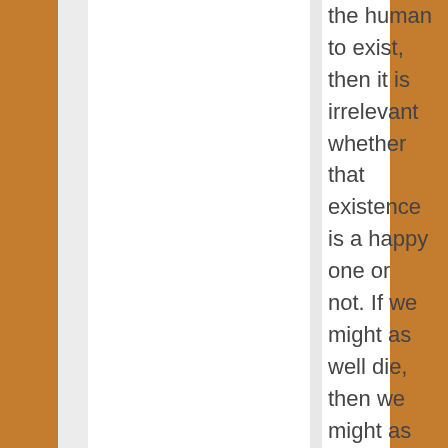the human to exist, then it is irrelevant whether that existence is a happy one or not. If we might as well die, then we might as well suffer. It is instinctive for us to want to live, and to save lives, as much as it is instinctive to wish your child to be happy. It is not an expression of the highest love to wish